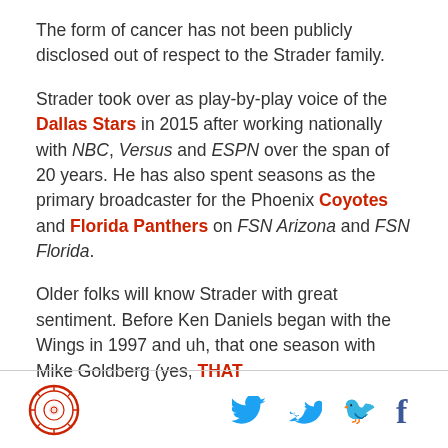The form of cancer has not been publicly disclosed out of respect to the Strader family.
Strader took over as play-by-play voice of the Dallas Stars in 2015 after working nationally with NBC, Versus and ESPN over the span of 20 years. He has also spent seasons as the primary broadcaster for the Phoenix Coyotes and Florida Panthers on FSN Arizona and FSN Florida.
Older folks will know Strader with great sentiment. Before Ken Daniels began with the Wings in 1997 and uh, that one season with Mike Goldberg (yes, THAT
[logo] [twitter] [facebook]